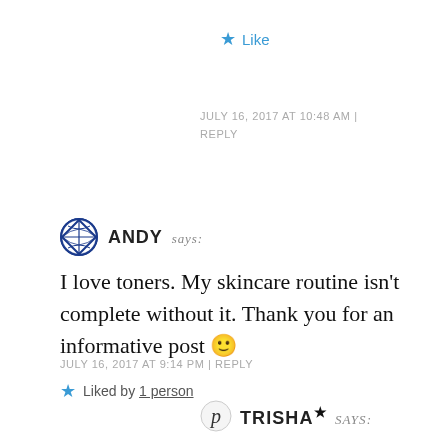★ Like
JULY 16, 2017 AT 10:48 AM | REPLY
ANDY says:
I love toners. My skincare routine isn't complete without it. Thank you for an informative post 🙂
★ Liked by 1 person
JULY 16, 2017 AT 9:14 PM | REPLY
TRISHA★ says: